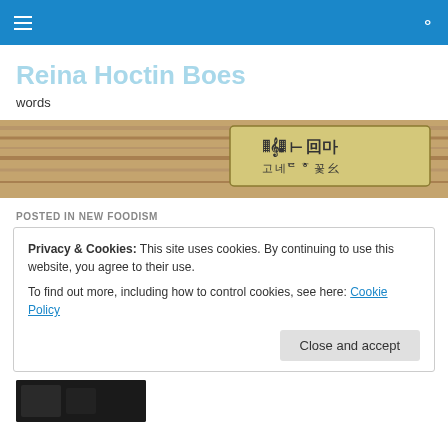Reina Hoctin Boes
words
[Figure (photo): Close-up photo of a wooden board with an Asian language label/stamp on it showing characters.]
POSTED IN NEW FOODISM
Privacy & Cookies: This site uses cookies. By continuing to use this website, you agree to their use.
To find out more, including how to control cookies, see here: Cookie Policy

Close and accept
[Figure (photo): Small thumbnail photo of food, dark tones.]